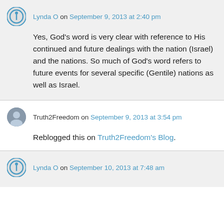Lynda O on September 9, 2013 at 2:40 pm
Yes, God’s word is very clear with reference to His continued and future dealings with the nation (Israel) and the nations. So much of God’s word refers to future events for several specific (Gentile) nations as well as Israel.
Truth2Freedom on September 9, 2013 at 3:54 pm
Reblogged this on Truth2Freedom’s Blog.
Lynda O on September 10, 2013 at 7:48 am